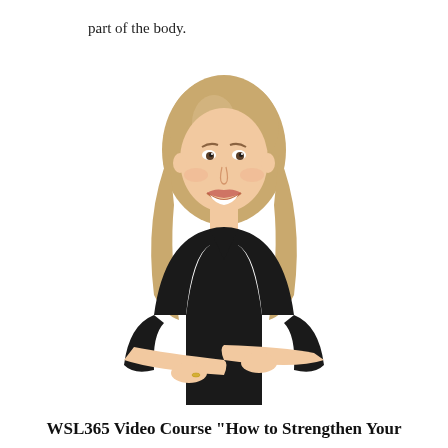part of the body.
[Figure (photo): A woman with blonde shoulder-length hair, wearing a black short-sleeve top, standing with arms crossed and smiling, on a white background.]
WSL365 Video Course "How to Strengthen Your